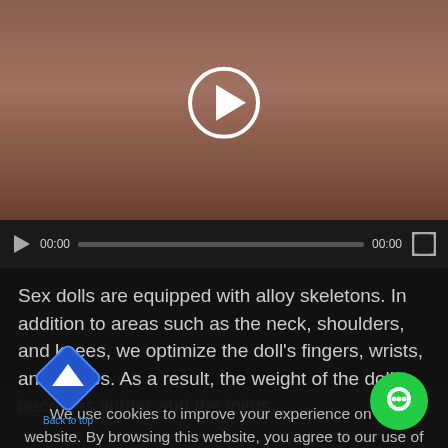[Figure (screenshot): Video player showing a close-up of a doll's finger/hand area with reddish-brown skin tone. A white play button circle is overlaid in the center. Below is a dark video control bar with play button, time codes (00:00 / 00:00), a progress bar, and fullscreen button.]
Sex dolls are equipped with alloy skeletons. In addition to areas such as the neck, shoulders, and knees, we optimize the doll's fingers, wrists, and ankles. As a result, the weight of the doll becomes lighter and the joints
We use cookies to improve your experience on our website. By browsing this website, you agree to our use of cookies.
[Figure (other): ACCEPT button in magenta/pink color]
[Figure (other): Back to top arrow icon in blue diamond shape with label 'Back to top']
[Figure (other): Green circular chat/message bubble icon]